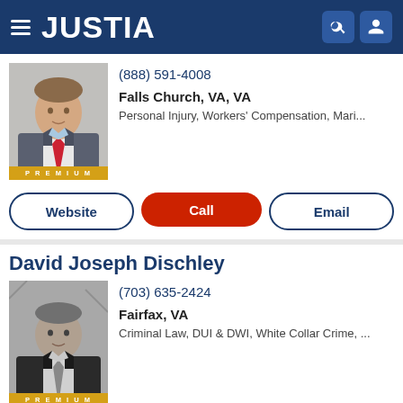JUSTIA
[Figure (photo): Professional headshot of male attorney in suit and tie (color photo), with PREMIUM badge overlay]
(888) 591-4008
Falls Church, VA, VA
Personal Injury, Workers' Compensation, Mari...
Website
Call
Email
David Joseph Dischley
[Figure (photo): Professional headshot of male attorney in suit and tie (black and white photo), with PREMIUM badge overlay]
(703) 635-2424
Fairfax, VA
Criminal Law, DUI & DWI, White Collar Crime, ...
Website
Call
Email
Benjamin N. Griffitts